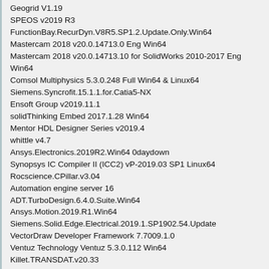Geogrid V1.19
SPEOS v2019 R3
FunctionBay.RecurDyn.V8R5.SP1.2.Update.Only.Win64
Mastercam 2018 v20.0.14713.0 Eng Win64
Mastercam 2018 v20.0.14713.10 for SolidWorks 2010-2017 Eng Win64
Comsol Multiphysics 5.3.0.248 Full Win64 & Linux64
Siemens.Syncrofit.15.1.1.for.Catia5-NX
Ensoft Group v2019.11.1
solidThinking Embed 2017.1.28 Win64
Mentor HDL Designer Series v2019.4
whittle v4.7
Ansys.Electronics.2019R2.Win64 0daydown
Synopsys IC Compiler II (ICC2) vP-2019.03 SP1 Linux64
Rocscience.CPillar.v3.04
Automation engine server 16
ADT.TurboDesign.6.4.0.Suite.Win64
Ansys.Motion.2019.R1.Win64
Siemens.Solid.Edge.Electrical.2019.1.SP1902.54.Update
VectorDraw Developer Framework 7.7009.1.0
Ventuz Technology Ventuz 5.3.0.112 Win64
Killet.TRANSDAT.v20.33
Snopsys.Finesim.vO-2018.09.SP2.Linux64
Rock Flow Dynamics RFD tNavigator v18.3
Tekla Structures v2017 SP2 Multilingual Win64